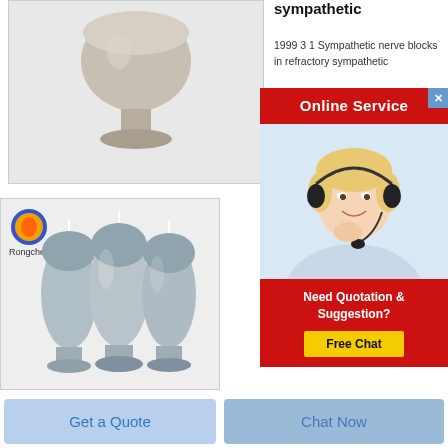[Figure (photo): Photo of a vase-shaped container filled with beige/grey powder on a light grey background]
[Figure (photo): Photo of three vase-shaped containers filled with blue-grey powder, with a flame logo and 'Rongcheng' text on a light grey background]
sympathetic
1999 3 1 Sympathetic nerve blocks in refractory sympathetic
[Figure (infographic): Online Service popup with red background, agent photo, Need Quotation & Suggestion text, and Free Chat yellow button]
Get a Quote
Chat Now